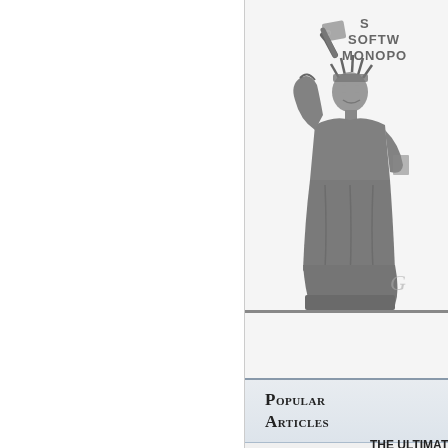[Figure (illustration): Illustration of the Statue of Liberty holding up a card/tablet, with text overlaid reading 'S... SOFTW... MONOPO...' — partial view of a logo or header graphic for a publication about software monopoly. The statue is rendered in grayscale engraving style.]
Popular Articles
THE Ultimate...